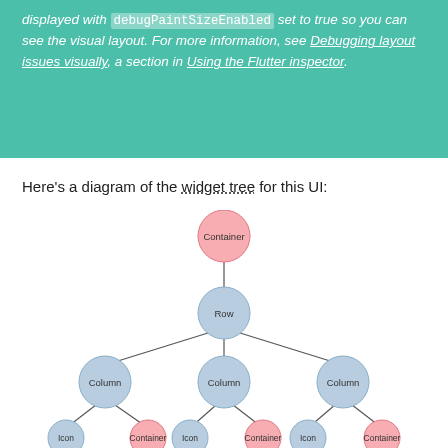displayed with debugPaintSizeEnabled set to true so you can see the visual layout. For more information, see Debugging layout issues visually, a section in Using the Flutter inspector.
Here’s a diagram of the widget tree for this UI:
[Figure (flowchart): Widget tree diagram showing Container at top (pink), connected to Row (blue), which connects to three Column nodes (blue), each Column connecting to Icon (blue) and Container (pink) children at the bottom.]